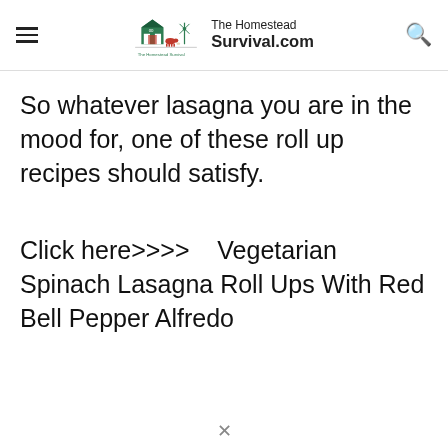The Homestead Survival.com
So whatever lasagna you are in the mood for, one of these roll up recipes should satisfy.
Click here>>>>    Vegetarian Spinach Lasagna Roll Ups With Red Bell Pepper Alfredo